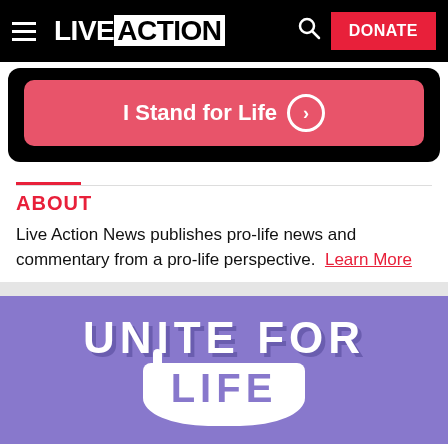LIVE ACTION — DONATE
[Figure (screenshot): Black banner with pink/red 'I Stand for Life' button with chevron circle icon]
ABOUT
Live Action News publishes pro-life news and commentary from a pro-life perspective.  Learn More
[Figure (illustration): Purple background with white bold text 'UNITE FOR LIFE' with banner ribbon style, partial view]